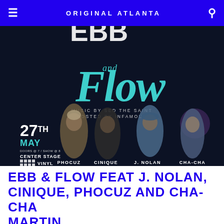ORIGINAL ATLANTA
[Figure (photo): Event poster for 'Ebb and Flow' featuring artists Phocuz, Cinique, J. Nolan, and Cha-Cha. Dark background with teal script 'Flow' text. Date: 27th May, Center Stage Vinyl. Music by Sed the Saint, Hosted by Infamous. Doors @ 7 / Show @ 8.]
EBB & FLOW FEAT J. NOLAN, CINIQUE, PHOCUZ AND CHA-CHA MARTIN